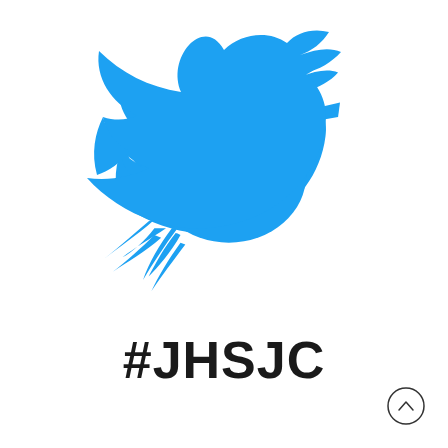[Figure (logo): Twitter bird logo in blue (#1DA1F2) — the classic Twitter bird silhouette facing right with stylized wing and tail feathers]
#JHSJC